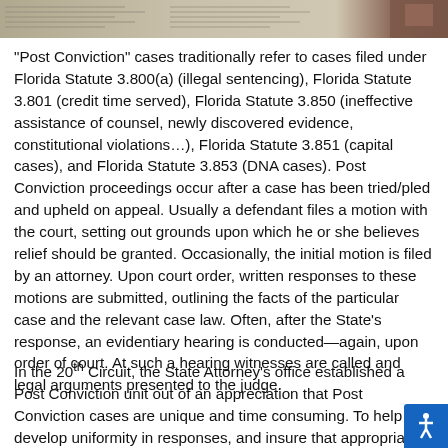[Figure (photo): Partial photo strip at top of page showing what appears to be printed text on paper and a person partially visible at the right edge.]
“Post Conviction” cases traditionally refer to cases filed under Florida Statute 3.800(a) (illegal sentencing), Florida Statute 3.801 (credit time served), Florida Statute 3.850 (ineffective assistance of counsel, newly discovered evidence, constitutional violations…), Florida Statute 3.851 (capital cases), and Florida Statute 3.853 (DNA cases). Post Conviction proceedings occur after a case has been tried/pled and upheld on appeal. Usually a defendant files a motion with the court, setting out grounds upon which he or she believes relief should be granted. Occasionally, the initial motion is filed by an attorney. Upon court order, written responses to these motions are submitted, outlining the facts of the particular case and the relevant case law. Often, after the State’s response, an evidentiary hearing is conducted—again, upon order of court. At such a hearing witnesses are called and legal arguments presented to the judge.
In the 20th Circuit, the State Attorney’s office established a Post Conviction unit out of an appreciation that Post Conviction cases are unique and time consuming. To help develop uniformity in responses, and insure that appropriate